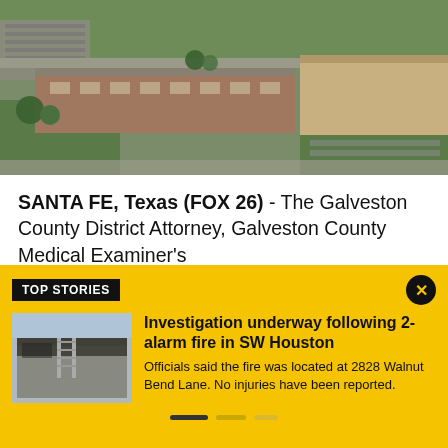[Figure (photo): Aerial view of a school building complex with parking lots, cars, and green grass areas surrounding brick buildings.]
SANTA FE, Texas (FOX 26) - The Galveston County District Attorney, Galveston County Medical Examiner's
TOP STORIES
[Figure (photo): Photo of a building with fire damage, showing a metal ladder and charred structure.]
Investigation underway following 2-alarm fire in SW Houston
Officials said the fire was located at 2828 Walnut Bend Lane. No injuries have been reported.